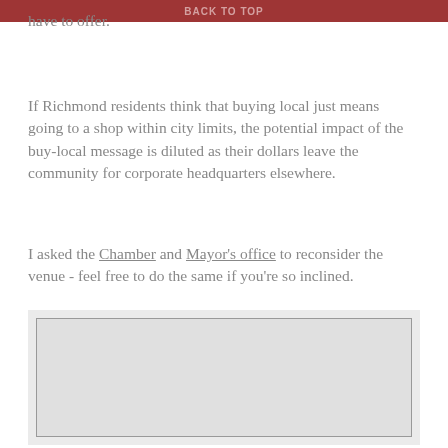BACK TO TOP
have to offer.
If Richmond residents think that buying local just means going to a shop within city limits, the potential impact of the buy-local message is diluted as their dollars leave the community for corporate headquarters elsewhere.
I asked the Chamber and Mayor's office to reconsider the venue - feel free to do the same if you're so inclined.
[Figure (other): A light gray rectangular image placeholder with a dark border, content not visible.]